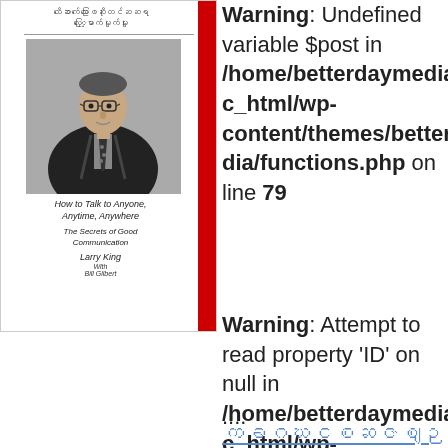[Figure (illustration): Book cover for Larry King's 'How to Talk to Anyone, Anytime, Anywhere: The Secrets of Good Communication'. Features a photo of Larry King on the cover with Myanmar script text at top and a red bar on the right side.]
Warning: Undefined variable $post in /home/betterdaymedia/public_html/wp-content/themes/betterdaymedia/functions.php on line 79
Warning: Attempt to read property 'ID' on null in /home/betterdaymedia/public_html/wp-content/themes/betterdaymedia/functions.php on line 79
....
Myanmar script link text (truncated)